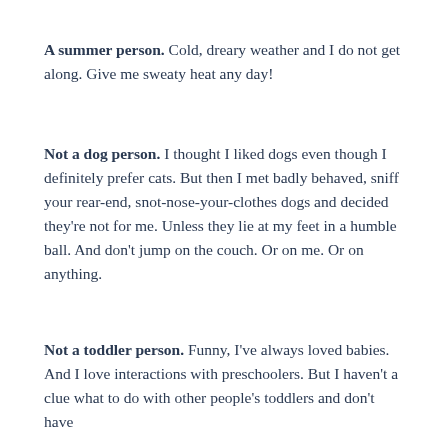A summer person. Cold, dreary weather and I do not get along. Give me sweaty heat any day!
Not a dog person. I thought I liked dogs even though I definitely prefer cats. But then I met badly behaved, sniff your rear-end, snot-nose-your-clothes dogs and decided they're not for me. Unless they lie at my feet in a humble ball. And don't jump on the couch. Or on me. Or on anything.
Not a toddler person. Funny, I've always loved babies. And I love interactions with preschoolers. But I haven't a clue what to do with other people's toddlers and don't have